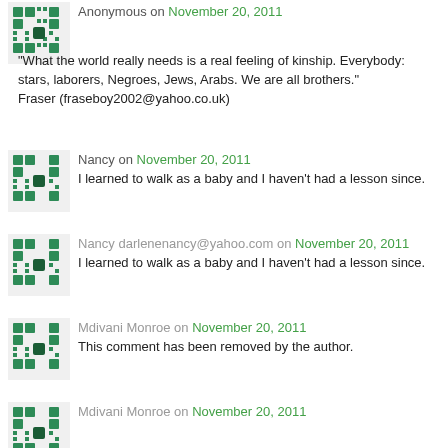Anonymous on November 20, 2011
"What the world really needs is a real feeling of kinship. Everybody: stars, laborers, Negroes, Jews, Arabs. We are all brothers." Fraser (fraseboy2002@yahoo.co.uk)
Nancy on November 20, 2011
I learned to walk as a baby and I haven't had a lesson since.
Nancy darlenenancy@yahoo.com on November 20, 2011
I learned to walk as a baby and I haven't had a lesson since.
Mdivani Monroe on November 20, 2011
This comment has been removed by the author.
Mdivani Monroe on November 20, 2011
"I'm selfish, impatient and a little insecure. I make mistakes, I am out of control and at times hard to handle. But if you can't handle me at my worst, then you sure as hell don't deserve me at my best." Mdivani mdivani@me.com
Irene on November 20, 2011